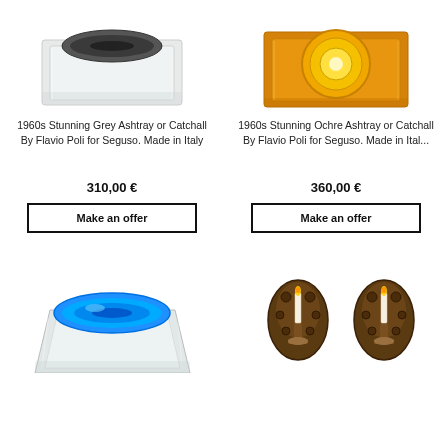[Figure (photo): Grey glass ashtray or catchall by Flavio Poli for Seguso, clear crystal block base with dark grey bowl insert]
[Figure (photo): Ochre/amber colored glass ashtray or catchall by Flavio Poli for Seguso, amber crystal block with gold circular center]
1960s Stunning Grey Ashtray or Catchall By Flavio Poli for Seguso. Made in Italy
1960s Stunning Ochre Ashtray or Catchall By Flavio Poli for Seguso. Made in Ital...
310,00 €
360,00 €
Make an offer
Make an offer
[Figure (photo): Blue aqua glass ashtray or catchall, clear crystal block base with vibrant blue bowl insert]
[Figure (photo): Pair of ornate bronze/brass wall sconces with candle holders and decorative floral backplates]